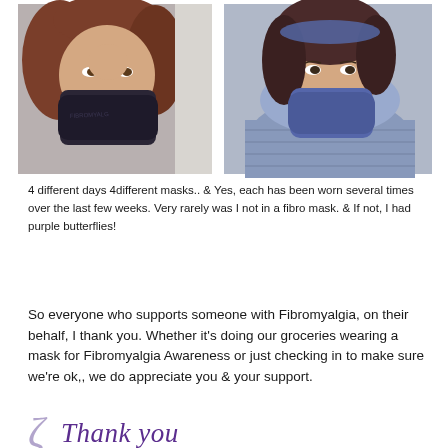[Figure (photo): Two side-by-side photos of women wearing face masks. Left photo shows a woman with reddish-brown hair wearing a dark/black face mask with text on it. Right photo shows a woman wearing a light blue/purple puffer jacket and a blue/purple face mask, with blue/purple hair accessories.]
4 different days 4different masks.. & Yes, each has been worn several times over the last few weeks. Very rarely was I not in a fibro mask. & If not, I had purple butterflies!
So everyone who supports someone with Fibromyalgia, on their behalf, I thank you. Whether it's doing our groceries wearing a mask for Fibromyalgia Awareness or just checking in to make sure we're ok,, we do appreciate you & your support.
Thank you